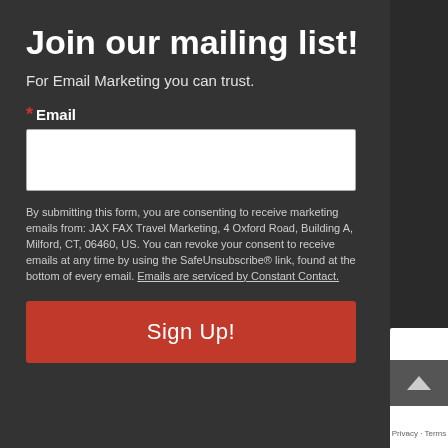Join our mailing list!
For Email Marketing you can trust.
*Email
By submitting this form, you are consenting to receive marketing emails from: JAX FAX Travel Marketing, 4 Oxford Road, Building A, Milford, CT, 06460, US. You can revoke your consent to receive emails at any time by using the SafeUnsubscribe® link, found at the bottom of every email. Emails are serviced by Constant Contact.
Sign Up!